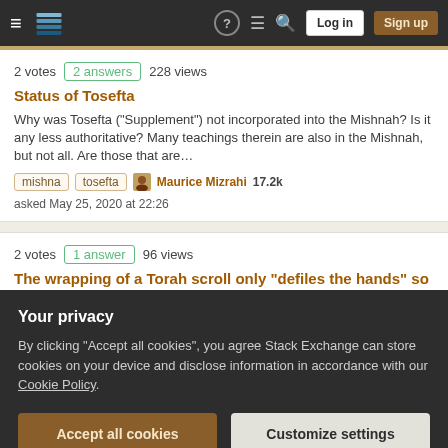Stack Exchange navigation bar with Log in and Sign up buttons
2 votes  2 answers  228 views
Status of Tosefta
Why was Tosefta ("Supplement") not incorporated into the Mishnah? Is it any less authoritative? Many teachings therein are also in the Mishnah, but not all. Are those that are...
mishna  tosefta  Maurice Mizrahi 17.2k asked May 25, 2020 at 22:26
2 votes  1 answer  96 views
The wrapping of a Torah scroll only "defiles the hands" so long as it is pure? Why? What does pure mean in this case?
Tosefta Yadayim 2:5 (quoted by Rashba on Mishnah Yadayim) says: תיק הספרים ומטפחות
Your privacy
By clicking "Accept all cookies", you agree Stack Exchange can store cookies on your device and disclose information in accordance with our Cookie Policy.
Accept all cookies   Customize settings
How many Perakim and Beraytot in the Tosefta?
I am trying to make a schedule. How many Perakim and Beraytot in the Tosefta?